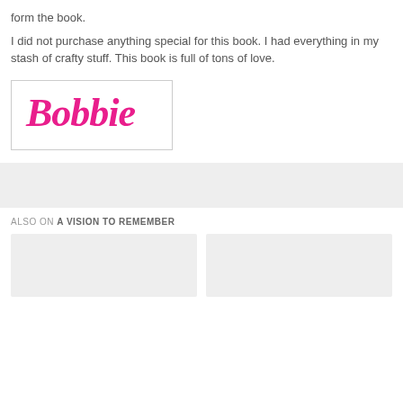form the book.
I did not purchase anything special for this book. I had everything in my stash of crafty stuff. This book is full of tons of love.
[Figure (illustration): A handwritten-style signature reading 'Bobbie' in pink cursive script on a white background with a thin border.]
[Figure (other): Gray placeholder bar (advertisement or widget area).]
ALSO ON A VISION TO REMEMBER
[Figure (other): Two gray placeholder card thumbnails side by side.]